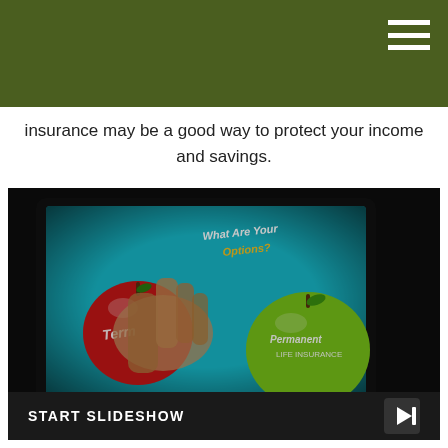insurance may be a good way to protect your income and savings.
[Figure (photo): A hand touching a tablet screen displaying a slideshow about life insurance options, showing red apple labeled 'Term' and green apple labeled 'Permanent Life Insurance' with text 'What Are Your Options?']
START SLIDESHOW